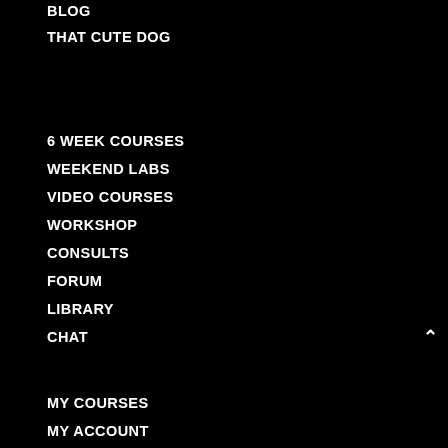BLOG
THAT CUTE DOG
6 WEEK COURSES
WEEKEND LABS
VIDEO COURSES
WORKSHOP
CONSULTS
FORUM
LIBRARY
CHAT
MY COURSES
MY ACCOUNT